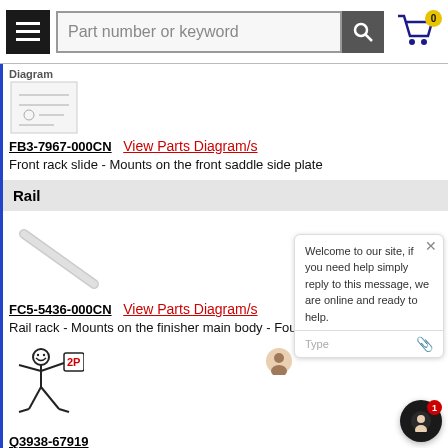Part number or keyword [search]
[Figure (illustration): Small parts diagram thumbnail image labeled 'Diagram']
FB3-7967-000CN   View Parts Diagram/s
Front rack slide - Mounts on the front saddle side plate
Rail
[Figure (illustration): Diagonal rod/rail part image]
FC5-5436-000CN   View Parts Diagram/s
Rail rack - Mounts on the finisher main body - Four used
[Figure (illustration): Stickman figure holding sign with '2P']
Q3938-67919
Rail, fixing, front
[Figure (illustration): Stickman figure holding sign with '2P' (second instance)]